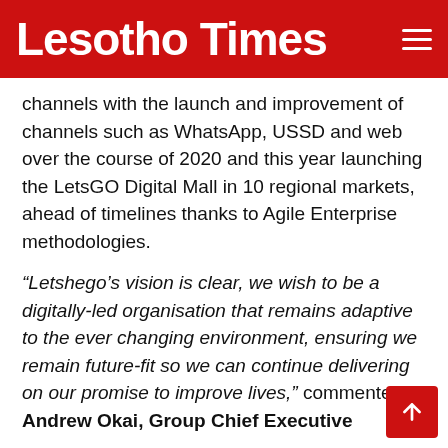Lesotho Times
channels with the launch and improvement of channels such as WhatsApp, USSD and web over the course of 2020 and this year launching the LetsGO Digital Mall in 10 regional markets, ahead of timelines thanks to Agile Enterprise methodologies.
"Letshego’s vision is clear, we wish to be a digitally-led organisation that remains adaptive to the ever changing environment, ensuring we remain future-fit so we can continue delivering on our promise to improve lives," commented Andrew Okai, Group Chief Executive
The Group’s digitisation strategy is structured to achieve broad transformation across multiple functions and includes the empowerment and upliftment of digital skills within its own staff compliment.
"We are not only here to improve the lives of our